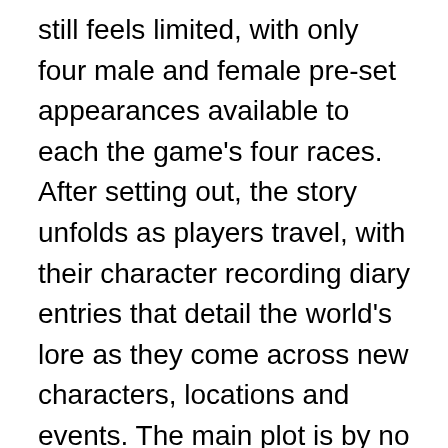still feels limited, with only four male and female pre-set appearances available to each the game's four races. After setting out, the story unfolds as players travel, with their character recording diary entries that detail the world's lore as they come across new characters, locations and events. The main plot is by no means bad, but because it's mostly told in bite-sized pieces that don't always link together well, it sometimes feels like an afterthought.
The updated visuals of Final Fantasy Crystal Chronicles Remastered Edition help to bring